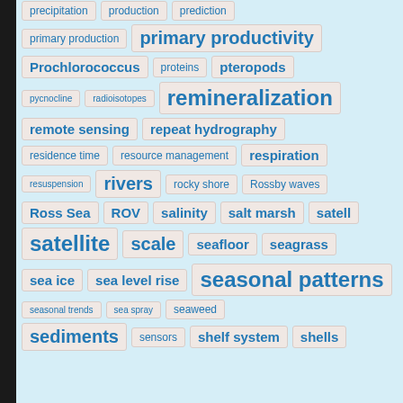[Figure (infographic): Tag cloud / keyword index showing oceanographic and marine science terms of varying font sizes indicating frequency/importance. Terms include: precipitation, production, prediction (top, partial), primary production, primary productivity, Prochlorococcus, proteins, pteropods, pycnocline, radioisotopes, remineralization, remote sensing, repeat hydrography, residence time, resource management, respiration, resuspension, rivers, rocky shore, Rossby waves, Ross Sea, ROV, salinity, salt marsh, satell (cut off), satellite, scale, seafloor, seagrass, sea ice, sea level rise, seasonal patterns, seasonal trends, sea spray, seaweed, sediments, sensors, shelf system, shells]